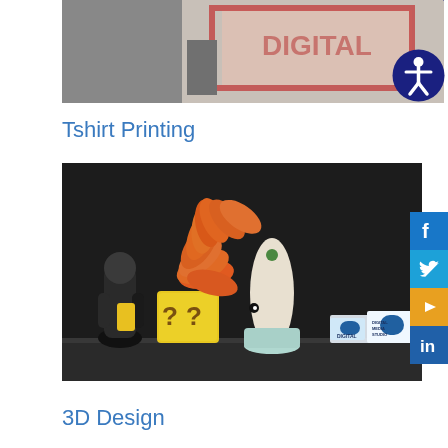[Figure (photo): Top portion of a photo showing a printer or sign with a red-bordered document/sign being printed, partially cropped. Accessibility icon (person in circle) overlaid at top right.]
Tshirt Printing
[Figure (photo): Photo of 3D printed objects on a dark shelf: a dark bird/ninja figure, a yellow Mario question block, an orange dragon/creature figure on a white vase, and business cards for Digital Media Studio. Social media icons (Facebook, Twitter, YouTube, LinkedIn) visible on the right edge.]
3D Design